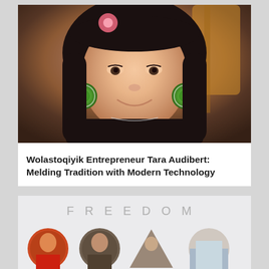[Figure (photo): Close-up portrait of a smiling woman with dark hair, wearing large circular green beaded earrings and a pink flower in her hair, with a guitar visible in the background.]
Wolastoqiyik Entrepreneur Tara Audibert: Melding Tradition with Modern Technology
[Figure (photo): Graphic design image spelling 'FREEDOM' with the letters made of people and landscapes. Circular portrait photos of Indigenous people are visible along the bottom row of the image.]